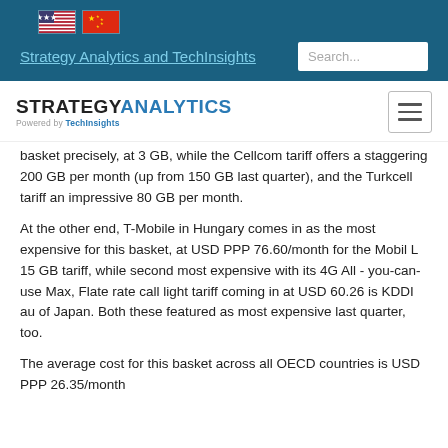[Figure (screenshot): Navigation bar with US and China flag icons]
Strategy Analytics and TechInsights
[Figure (logo): Strategy Analytics powered by TechInsights logo with hamburger menu]
basket precisely, at 3 GB, while the Cellcom tariff offers a staggering 200 GB per month (up from 150 GB last quarter), and the Turkcell tariff an impressive 80 GB per month.
At the other end, T-Mobile in Hungary comes in as the most expensive for this basket, at USD PPP 76.60/month for the Mobil L 15 GB tariff, while second most expensive with its 4G All - you-can-use Max, Flate rate call light tariff coming in at USD 60.26 is KDDI au of Japan. Both these featured as most expensive last quarter, too.
The average cost for this basket across all OECD countries is USD PPP 26.35/month